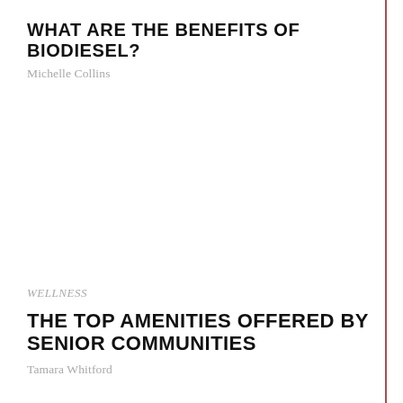WHAT ARE THE BENEFITS OF BIODIESEL?
Michelle Collins
WELLNESS
THE TOP AMENITIES OFFERED BY SENIOR COMMUNITIES
Tamara Whitford